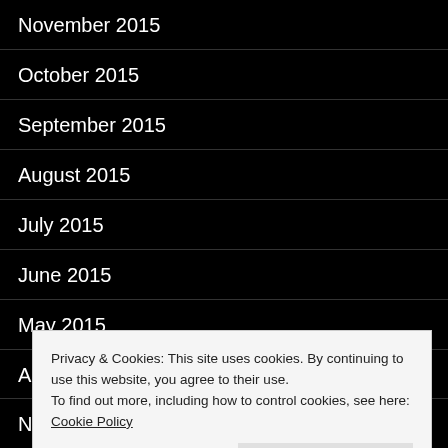November 2015
October 2015
September 2015
August 2015
July 2015
June 2015
May 2015
April 2015
March 2015
Privacy & Cookies: This site uses cookies. By continuing to use this website, you agree to their use.
To find out more, including how to control cookies, see here: Cookie Policy
November 2014